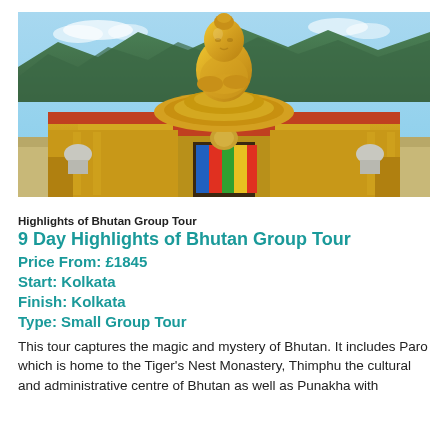[Figure (photo): Large golden Buddha statue seated on an ornate yellow temple platform with mountains and blue sky in the background, Bhutan]
Highlights of Bhutan Group Tour
9 Day Highlights of Bhutan Group Tour
Price From: £1845
Start: Kolkata
Finish: Kolkata
Type: Small Group Tour
This tour captures the magic and mystery of Bhutan. It includes Paro which is home to the Tiger's Nest Monastery, Thimphu the cultural and administrative centre of Bhutan as well as Punakha with